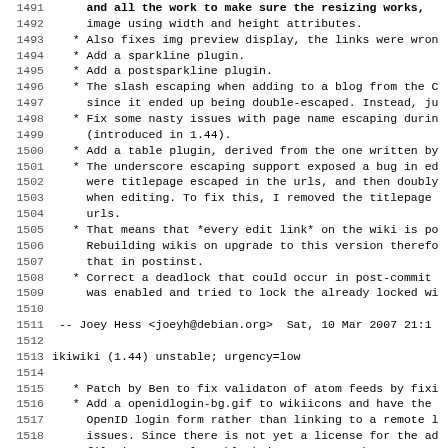Changelog/code listing lines 1491-1523 of ikiwiki debian changelog
1492: image using width and height attributes.
1493: * Also fixes img preview display, the links were wro...
1494: * Add a sparkline plugin.
1495: * Add a postsparkline plugin.
1496: * The slash escaping when adding to a blog from the C...
1497:   since it ended up being double-escaped. Instead, ju...
1498: * Fix some nasty issues with page name escaping durin...
1499:   (introduced in 1.44).
1500: * Add a table plugin, derived from the one written by...
1501: * The underscore escaping support exposed a bug in ed...
1502:   were titlepage escaped in the urls, and then doubly...
1503:   when editing. To fix this, I removed the titlepage...
1504:   urls.
1505: * That means that *every edit link* on the wiki is po...
1506:   Rebuilding wikis on upgrade to this version therefo...
1507:   that in postinst.
1508: * Correct a deadlock that could occur in post-commit ...
1509:   was enabled and tried to lock the already locked wi...
1510: (blank)
1511: -- Joey Hess <joeyh@debian.org>  Sat, 10 Mar 2007 21:1...
1512: (blank)
1513: ikiwiki (1.44) unstable; urgency=low
1514: (blank)
1515: * Patch by Ben to fix validaton of atom feeds by fixi...
1516: * Add a openidlogin-bg.gif to wikiicons and have the...
1517:   OpenID login form rather than linking to a remote l...
1518:   issues. Since there is not yet a license for the ad...
1519:   file is currently a blank image. Users who want to...
1520:   http://openid.net/login-bg.gif into their wiki.
1521: * Allow setting NOTAINT=1 when building the wiki to n...
1522:   flags, which can be useful on some hosting provider...
1523: * Fix a bug that made links like [[0|foo]] use "foo"...